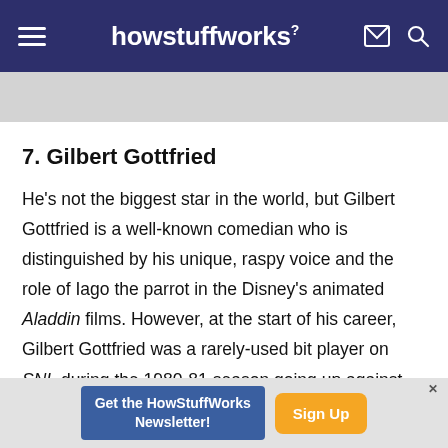howstuffworks
7. Gilbert Gottfried
He's not the biggest star in the world, but Gilbert Gottfried is a well-known comedian who is distinguished by his unique, raspy voice and the role of Iago the parrot in the Disney's animated Aladdin films. However, at the start of his career, Gilbert Gottfried was a rarely-used bit player on SNL during the 1980-81 season going up against heavyweights such as Eddie Murphy and Joe Piscopo. Shy and
Get the HowStuffWorks Newsletter! Sign Up